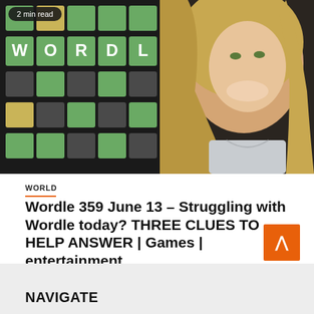[Figure (screenshot): Wordle game screenshot thumbnail showing colored letter tiles in green and yellow, with the word WORDLE displayed prominently, and a smiling blonde woman in the background. A '2 min read' badge is shown in top left.]
WORLD
Wordle 359 June 13 – Struggling with Wordle today? THREE CLUES TO HELP ANSWER | Games | entertainment
June 13, 2022  Vince Heath
NAVIGATE